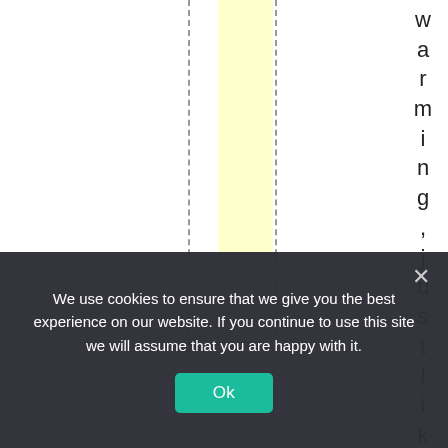[Figure (other): A chart area with a vertical yellow highlighted band and two dashed vertical lines. On the right side, rotated text reads 'warming, just like yo' (letters stacked vertically). The main chart content is partially visible — appears to be a scientific chart or graph with vertical reference lines.]
We use cookies to ensure that we give you the best experience on our website. If you continue to use this site we will assume that you are happy with it.